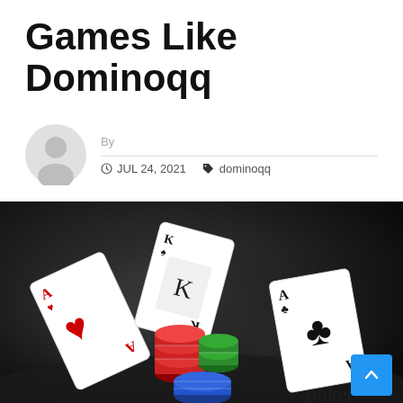Games Like Dominoqq
By
JUL 24, 2021  dominoqq
[Figure (photo): Playing cards flying in the air with poker chips (red, green, blue) on a dark reflective surface. Cards visible include Ace of Hearts, King of Spades, and Ace of Clubs.]